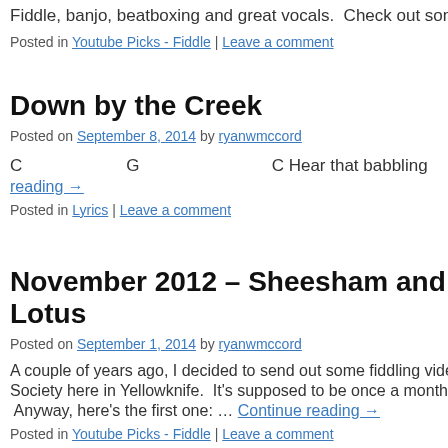Fiddle, banjo, beatboxing and great vocals.  Check out some of
Posted in Youtube Picks - Fiddle | Leave a comment
Down by the Creek
Posted on September 8, 2014 by ryanwmccord
C                    G                              C Hear that babbling
reading →
Posted in Lyrics | Leave a comment
November 2012 – Sheesham and Lotus
Posted on September 1, 2014 by ryanwmccord
A couple of years ago, I decided to send out some fiddling video
Society here in Yellowknife.  It's supposed to be once a month,
Anyway, here's the first one: … Continue reading →
Posted in Youtube Picks - Fiddle | Leave a comment